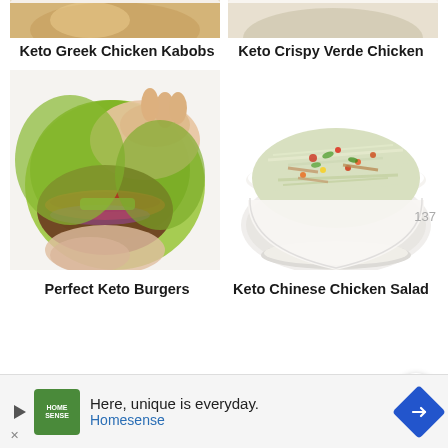[Figure (photo): Cropped top portion of Keto Greek Chicken Kabobs dish on a plate]
[Figure (photo): Cropped top portion of Keto Crispy Verde Chicken dish]
Keto Greek Chicken Kabobs
Keto Crispy Verde Chicken
[Figure (photo): Hands holding a lettuce-wrapped burger with tomato, red onion, and avocado — Perfect Keto Burgers]
[Figure (photo): White bowl filled with Keto Chinese Chicken Salad topped with shredded cabbage, chicken, and colorful vegetables]
Perfect Keto Burgers
Keto Chinese Chicken Salad
[Figure (infographic): Advertisement banner: Home Sense — Here, unique is everyday.]